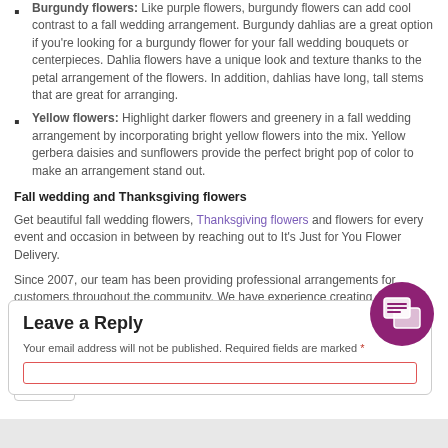Burgundy flowers: Like purple flowers, burgundy flowers can add cool contrast to a fall wedding arrangement. Burgundy dahlias are a great option if you're looking for a burgundy flower for your fall wedding bouquets or centerpieces. Dahlia flowers have a unique look and texture thanks to the petal arrangement of the flowers. In addition, dahlias have long, tall stems that are great for arranging.
Yellow flowers: Highlight darker flowers and greenery in a fall wedding arrangement by incorporating bright yellow flowers into the mix. Yellow gerbera daisies and sunflowers provide the perfect bright pop of color to make an arrangement stand out.
Fall wedding and Thanksgiving flowers
Get beautiful fall wedding flowers, Thanksgiving flowers and flowers for every event and occasion in between by reaching out to It's Just for You Flower Delivery.
Since 2007, our team has been providing professional arrangements for customers throughout the community. We have experience creating arrangements for everything from weddings to corporate events, so you can rest assured that our team has the expertise necessary to make the perfect arrangements for your needs. Start your order by giving our team a call today.
[Figure (other): Pin it button]
Leave a Reply
Your email address will not be published. Required fields are marked *